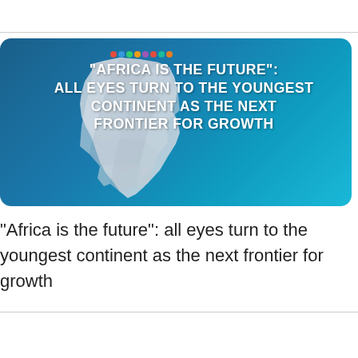[Figure (illustration): Banner image with a dark teal/blue background showing a low-poly paper-craft style map of Africa with colorful dots at the top. Bold white text overlay reads: "AFRICA IS THE FUTURE": ALL EYES TURN TO THE YOUNGEST CONTINENT AS THE NEXT FRONTIER FOR GROWTH]
“Africa is the future”: all eyes turn to the youngest continent as the next frontier for growth